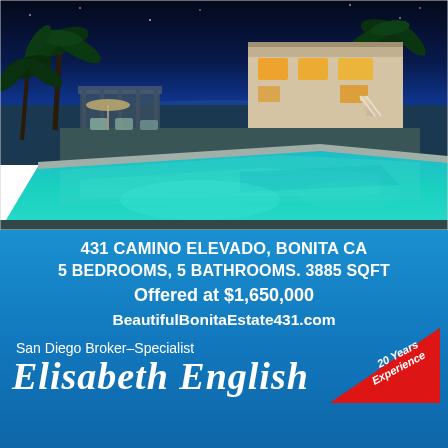[Figure (photo): Night-time photo of a luxury home with a large illuminated swimming pool in the foreground, palm trees on the left, and a two-story white stucco house with lit windows and a white staircase on the right, set against a deep blue evening sky.]
431 CAMINO ELEVADO, BONITA CA
5 BEDROOMS, 5 BATHROOMS. 3885 SQFT
Offered at $1,650,000
BeautifulBonitaEstate431.com
San Diego Broker–Specialist
20 Years Experience
Elisabeth English